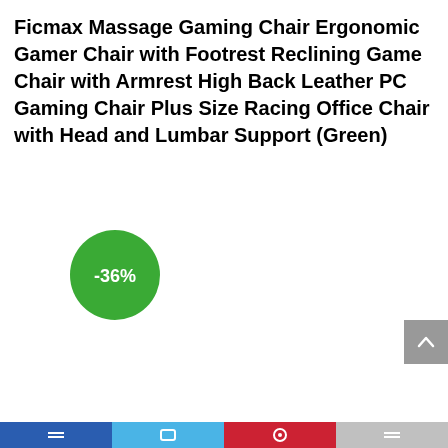Ficmax Massage Gaming Chair Ergonomic Gamer Chair with Footrest Reclining Game Chair with Armrest High Back Leather PC Gaming Chair Plus Size Racing Office Chair with Head and Lumbar Support (Green)
[Figure (other): Green circular discount badge showing -36%]
Bottom navigation bar with icons